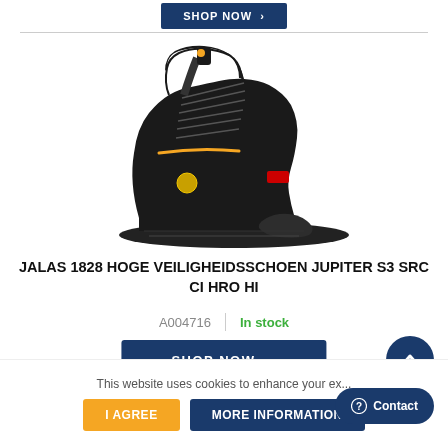[Figure (screenshot): SHOP NOW button with arrow, dark navy blue background]
[Figure (photo): Black high safety boot - JALAS 1828 Jupiter S3 SRC CI HRO HI, black leather with yellow accents, lace-up, protective toe cap]
JALAS 1828 HOGE VEILIGHEIDSSCHOEN JUPITER S3 SRC CI HRO HI
A004716   |   In stock
[Figure (screenshot): SHOP NOW button with arrow chevron]
[Figure (screenshot): Scroll-up arrow circle button]
This website uses cookies to enhance your ex...
[Figure (screenshot): Contact button with question mark icon]
I AGREE
MORE INFORMATION